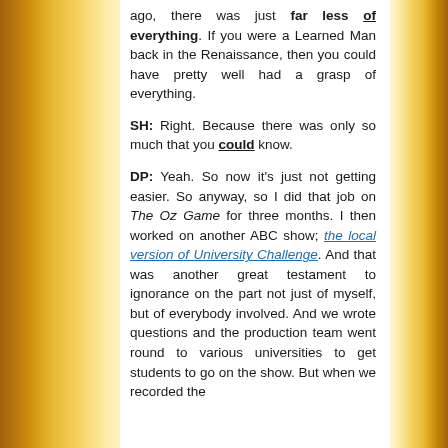ago, there was just far less of everything. If you were a Learned Man back in the Renaissance, then you could have pretty well had a grasp of everything.
SH: Right. Because there was only so much that you could know.
DP: Yeah. So now it's just not getting easier. So anyway, so I did that job on The Oz Game for three months. I then worked on another ABC show; the local version of University Challenge. And that was another great testament to ignorance on the part not just of myself, but of everybody involved. And we wrote questions and the production team went round to various universities to get students to go on the show. But when we recorded the